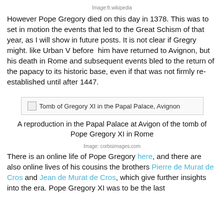Image:fr.wikipedia
However Pope Gregory died on this day in 1378. This was to set in motion the events that led to the Great Schism of that year, as I will show in future posts. It is not clear if Gregry might. like Urban V before  him have returned to Avignon, but his death in Rome and subsequent events bled to the return of the papacy to its historic base, even if that was not firmly re-established until after 1447.
[Figure (photo): Tomb of Gregory XI in the Papal Palace, Avignon]
A reproduction in the Papal Palace at Avigon of the tomb of Pope Gregory XI in Rome
Image: corbisimages.com
There is an online life of Pope Gregory here, and there are also online lives of his cousins the brothers Pierre de Murat de Cros and Jean de Murat de Cros, which give further insights into the era. Pope Gregory XI was to be the last